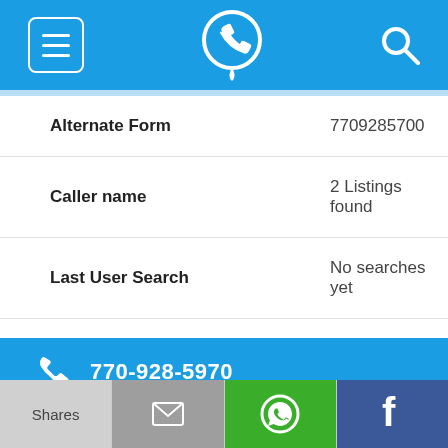Navigation bar with menu, phone locator logo, and search icon
| Field | Value |
| --- | --- |
| Alternate Form | 7709285700 |
| Caller name | 2 Listings found |
| Last User Search | No searches yet |
| Comments |  |
770-928-5970
| Field | Value |
| --- | --- |
| Alternate Form | 7709285970 |
Shares | [email icon] | [WhatsApp icon] | [Facebook icon]